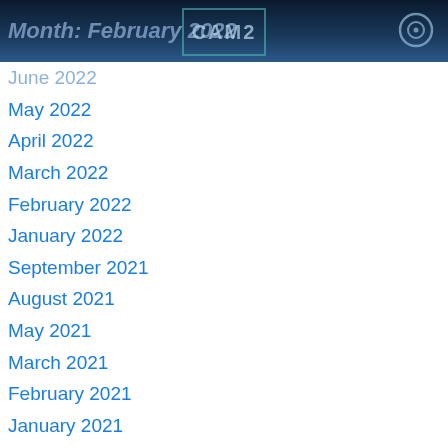Month: February 2022 | CAM2
June 2022
May 2022
April 2022
March 2022
February 2022
January 2022
September 2021
August 2021
May 2021
March 2021
February 2021
January 2021
November 2020
October 2020
August 2020
March 2020
February 2020
January 2020